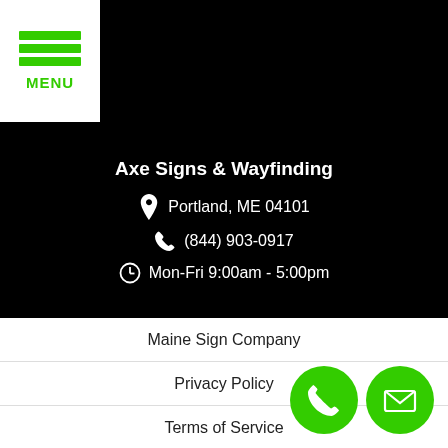[Figure (screenshot): Mobile website screenshot showing Axe Signs & Wayfinding business info on black background with green menu button, and footer navigation links]
MENU
Axe Signs & Wayfinding
Portland, ME 04101
(844) 903-0917
Mon-Fri 9:00am - 5:00pm
Maine Sign Company
Privacy Policy
Terms of Service